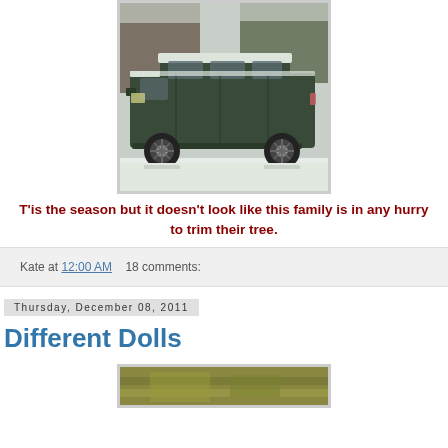[Figure (photo): A dark green SUV/truck covered in snow, parked outside with snow-covered trees in the background. Winter scene with significant snowfall on the vehicle.]
T'is the season but it doesn't look like this family is in any hurry to trim their tree.
Kate at 12:00 AM   18 comments:
Thursday, December 08, 2011
Different Dolls
[Figure (photo): Partial view of another photo, appearing to show a greenish/yellowish outdoor scene, cropped at the bottom of the page.]